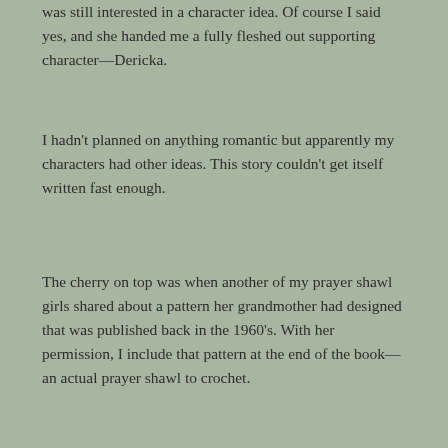was still interested in a character idea. Of course I said yes, and she handed me a fully fleshed out supporting character—Dericka.
I hadn't planned on anything romantic but apparently my characters had other ideas. This story couldn't get itself written fast enough.
The cherry on top was when another of my prayer shawl girls shared about a pattern her grandmother had designed that was published back in the 1960's. With her permission, I include that pattern at the end of the book—an actual prayer shawl to crochet.